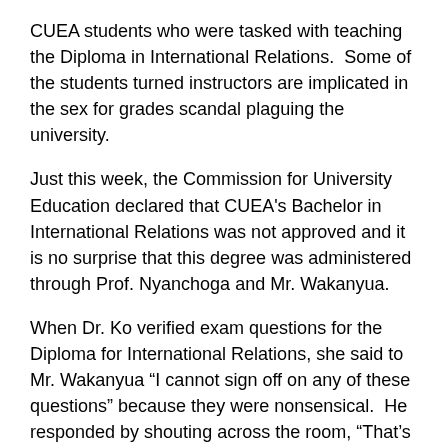CUEA students who were tasked with teaching the Diploma in International Relations.  Some of the students turned instructors are implicated in the sex for grades scandal plaguing the university.
Just this week, the Commission for University Education declared that CUEA's Bachelor in International Relations was not approved and it is no surprise that this degree was administered through Prof. Nyanchoga and Mr. Wakanyua.
When Dr. Ko verified exam questions for the Diploma for International Relations, she said to Mr. Wakanyua “I cannot sign off on any of these questions” because they were nonsensical.  He responded by shouting across the room, “That’s why you are here, to fix everything.”
As Dr. Ko was leaving the exam moderation room in